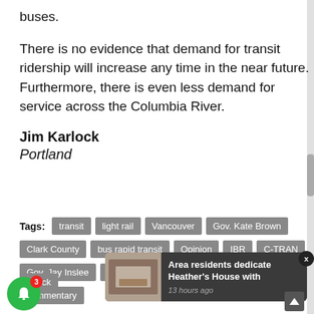buses.
There is no evidence that demand for transit ridership will increase any time in the near future. Furthermore, there is even less demand for service across the Columbia River.
Jim Karlock
Portland
Tags: transit  light rail  Vancouver  Gov. Kate Brown  Clark County  bus rapid transit  Opinion  IBR  C-TRAN  Gov. Jay Inslee  [arlock]  Tri[...]  [commentary]
[Figure (screenshot): Notification popup: 'Area residents dedicate Heather's House with' - 13 hours ago, with a thumbnail image. X close button top right. Green bell notification icon with badge showing 3 at bottom left.]